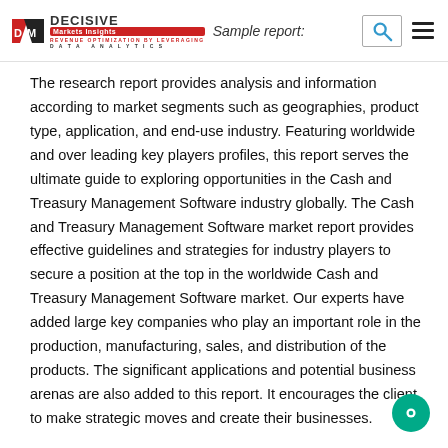Decisive Markets Insights — Sample report:
The research report provides analysis and information according to market segments such as geographies, product type, application, and end-use industry. Featuring worldwide and over leading key players profiles, this report serves the ultimate guide to exploring opportunities in the Cash and Treasury Management Software industry globally. The Cash and Treasury Management Software market report provides effective guidelines and strategies for industry players to secure a position at the top in the worldwide Cash and Treasury Management Software market. Our experts have added large key companies who play an important role in the production, manufacturing, sales, and distribution of the products. The significant applications and potential business arenas are also added to this report. It encourages the client to make strategic moves and create their businesses.